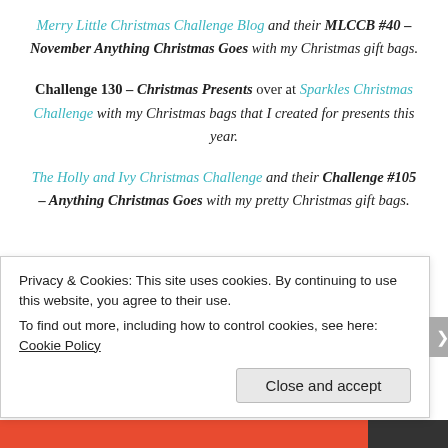Merry Little Christmas Challenge Blog and their MLCCB #40 – November Anything Christmas Goes with my Christmas gift bags.
Challenge 130 – Christmas Presents over at Sparkles Christmas Challenge with my Christmas bags that I created for presents this year.
The Holly and Ivy Christmas Challenge and their Challenge #105 – Anything Christmas Goes with my pretty Christmas gift bags.
Privacy & Cookies: This site uses cookies. By continuing to use this website, you agree to their use.
To find out more, including how to control cookies, see here: Cookie Policy
Close and accept